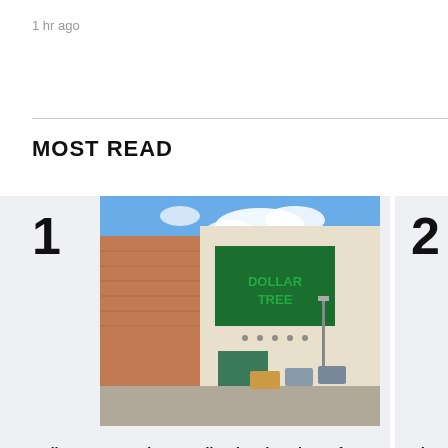1 hr ago
MOST READ
[Figure (photo): Exterior photo of a Dollar Tree store on Calgary Trail, showing the storefront with green Dollar Tree signage on a beige building, with a parking lot and blue sky in the background.]
Dollar Tree on Calgary Trail ordered to close after failing health inspection
[Figure (photo): Close-up photo of a yellow dandelion flower with a blurred green background.]
Edmo
maint
coun